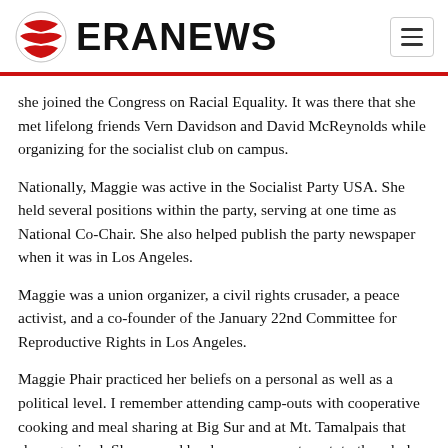ERANEWS
she joined the Congress on Racial Equality. It was there that she met lifelong friends Vern Davidson and David McReynolds while organizing for the socialist club on campus.
Nationally, Maggie was active in the Socialist Party USA. She held several positions within the party, serving at one time as National Co-Chair. She also helped publish the party newspaper when it was in Los Angeles.
Maggie was a union organizer, a civil rights crusader, a peace activist, and a co-founder of the January 22nd Committee for Reproductive Rights in Los Angeles.
Maggie Phair practiced her beliefs on a personal as well as a political level. I remember attending camp-outs with cooperative cooking and meal sharing at Big Sur and at Mt. Tamalpais that she organized. She opened her home, an apartment, to the whole Alameda County Peace and Freedom Party delegation when we came to Los Angeles for meetings. As many as six or